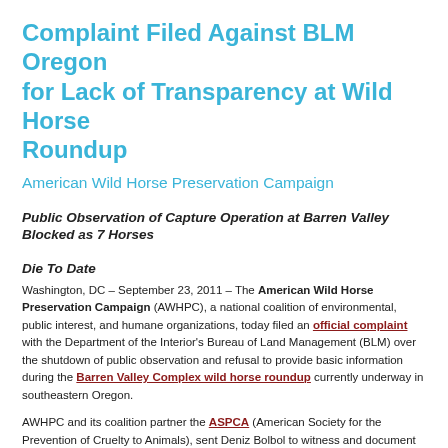Complaint Filed Against BLM Oregon for Lack of Transparency at Wild Horse Roundup
American Wild Horse Preservation Campaign
Public Observation of Capture Operation at Barren Valley Blocked as 7 Horses Die To Date
Washington, DC – September 23, 2011 – The American Wild Horse Preservation Campaign (AWHPC), a national coalition of environmental, public interest, and humane organizations, today filed an official complaint with the Department of the Interior's Bureau of Land Management (BLM) over the shutdown of public observation and refusal to provide basic information during the Barren Valley Complex wild horse roundup currently underway in southeastern Oregon.
AWHPC and its coalition partner the ASPCA (American Society for the Prevention of Cruelty to Animals), sent Deniz Bolbol to witness and document the roundup. However, BLM failed to provide meaningful observation of the capture operation between September 14-18 and shutdown all observation beginning September 19. The BLM Oregon also continues to withhold information from the public about